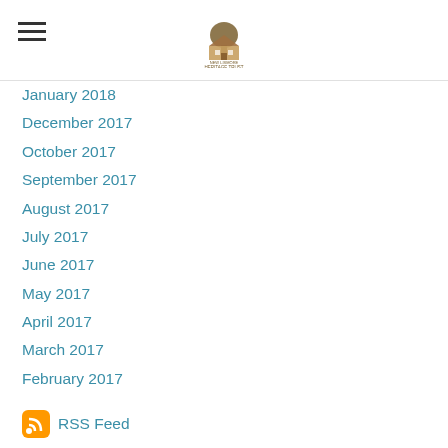[Logo: New Lismore Heritage Trust]
January 2018
December 2017
October 2017
September 2017
August 2017
July 2017
June 2017
May 2017
April 2017
March 2017
February 2017
RSS Feed
Categories
All
Events
Exhibits & Artifacts